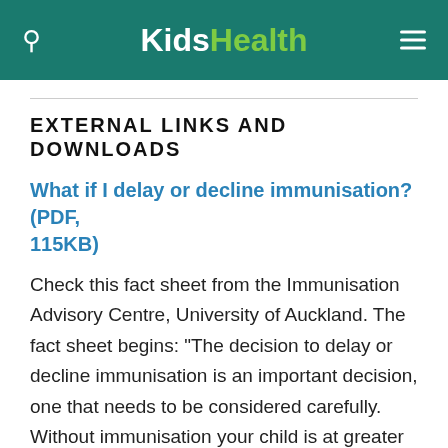KidsHealth
EXTERNAL LINKS AND DOWNLOADS
What if I delay or decline immunisation? (PDF, 115KB)
Check this fact sheet from the Immunisation Advisory Centre, University of Auckland. The fact sheet begins: "The decision to delay or decline immunisation is an important decision, one that needs to be considered carefully. Without immunisation your child is at greater risk of catching one of the vaccine-preventable diseases. Children today can and do become seriously ill